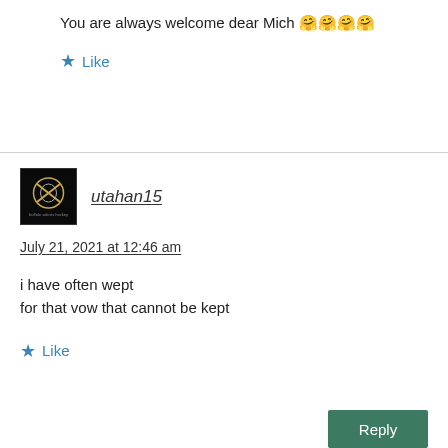You are always welcome dear Mich 🤗🤗🤗🤗
★ Like
[Figure (photo): Dark avatar image with Buffalo Sabres NHL logo]
utahan15
July 21, 2021 at 12:46 am
i have often wept
for that vow that cannot be kept
★ Like
Reply